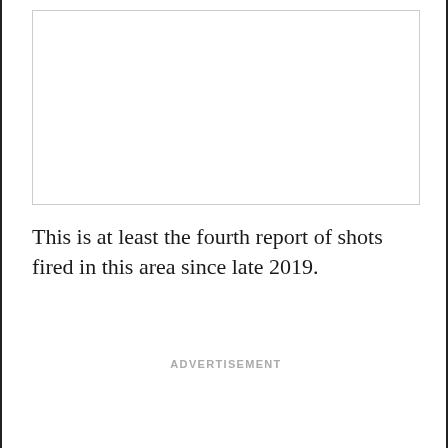[Figure (other): Empty white image placeholder box with light border]
This is at least the fourth report of shots fired in this area since late 2019.
ADVERTISEMENT